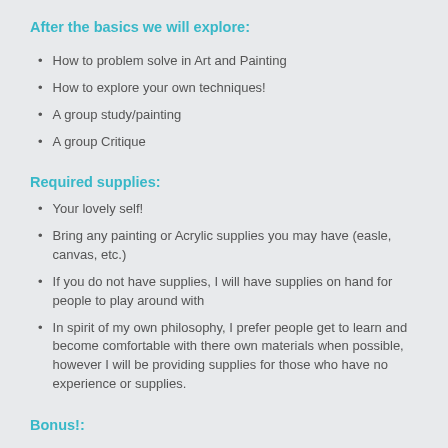After the basics we will explore:
How to problem solve in Art and Painting
How to explore your own techniques!
A group study/painting
A group Critique
Required supplies:
Your lovely self!
Bring any painting or Acrylic supplies you may have (easle, canvas, etc.)
If you do not have supplies, I will have supplies on hand for people to play around with
In spirit of my own philosophy, I prefer people get to learn and become comfortable with there own materials when possible, however I will be providing supplies for those who have no experience or supplies.
Bonus!: